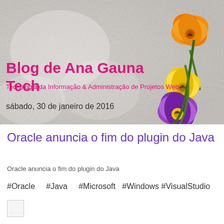[Figure (photo): Blog header with grey textured background and three pansy flowers in orange, yellow, and purple arranged in the upper right corner]
Blog de Ana Gauna Tech
Tecnologia da Informação & Administração de Projetos Web
sábado, 30 de janeiro de 2016
Oracle anuncia o fim do plugin do Java
Oracle anuncia o fim do plugin do Java
#Oracle    #Java    #Microsoft  #Windows #VisualStudio
[Figure (other): Small white/light grey square share button]